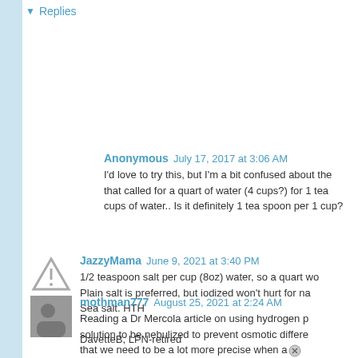▼ Replies
Unknown  May 30, 2017 at 9:54 PM
use sea salt not regular table salt
Anonymous  July 17, 2017 at 3:06 AM
I'd love to try this, but I'm a bit confused about the... that called for a quart of water (4 cups?) for 1 tea... cups of water.. Is it definitely 1 tea spoon per 1 cup?
JazzyMama  June 9, 2021 at 3:40 PM
1/2 teaspoon salt per cup (8oz) water, so a quart wo... Plain salt is preferred, but iodized won't hurt for na... Sea salt. HTH

DavetteB, LPN-retired
mothman777  August 25, 2021 at 2:24 AM
Reading a Dr Mercola article on using hydrogen p... solution to be nebulized to prevent osmotic differe... that we need to be a lot more precise when a...